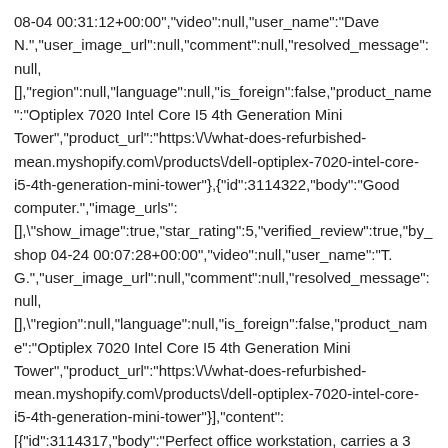08-04 00:31:12+00:00","video":null,"user_name":"Dave N.","user_image_url":null,"comment":null,"resolved_message":null,[]"region":null,"language":null,"is_foreign":false,"product_name":"Optiplex 7020 Intel Core I5 4th Generation Mini Tower","product_url":"https:\/\/what-does-refurbished-mean.myshopify.com\/products\/dell-optiplex-7020-intel-core-i5-4th-generation-mini-tower"},{"id":3114322,"body":"Good computer.","image_urls":[],"show_image":true,"star_rating":5,"verified_review":true,"by_shop 04-24 00:07:28+00:00","video":null,"user_name":"T. G.","user_image_url":null,"comment":null,"resolved_message":null,[],"region":null,"language":null,"is_foreign":false,"product_name":"Optiplex 7020 Intel Core I5 4th Generation Mini Tower","product_url":"https:\/\/what-does-refurbished-mean.myshopify.com\/products\/dell-optiplex-7020-intel-core-i5-4th-generation-mini-tower"}],"content":[{"id":3114317,"body":"Perfect office workstation, carries a 3 year warranty, and has plenty of performance. I've ordered a half dozen or so b...